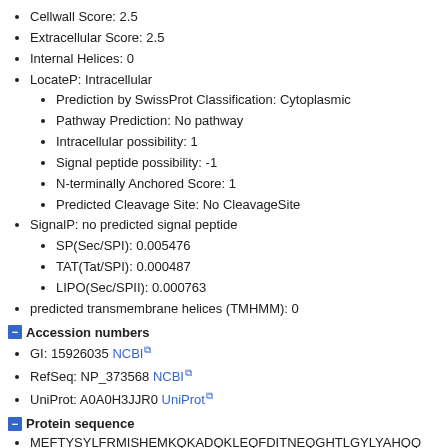Cellwall Score: 2.5
Extracellular Score: 2.5
Internal Helices: 0
LocateP: Intracellular
Prediction by SwissProt Classification: Cytoplasmic
Pathway Prediction: No pathway
Intracellular possibility: 1
Signal peptide possibility: -1
N-terminally Anchored Score: 1
Predicted Cleavage Site: No CleavageSite
SignalP: no predicted signal peptide
SP(Sec/SPI): 0.005476
TAT(Tat/SPI): 0.000487
LIPO(Sec/SPII): 0.000763
predicted transmembrane helices (TMHMM): 0
Accession numbers
GI: 15926035 NCBI
RefSeq: NP_373568 NCBI
UniProt: A0A0H3JJR0 UniProt
Protein sequence
MEFTYSYLFRMISHEMKQKADQKLEQFDITNEQGHTLGYLYAHQQ